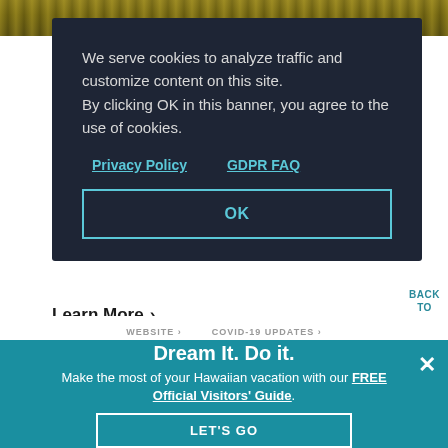[Figure (photo): Top strip of a nature/landscape photo with golden/olive tones]
We serve cookies to analyze traffic and customize content on this site.
By clicking OK in this banner, you agree to the use of cookies.
Privacy Policy
GDPR FAQ
OK
Learn More ›
BACK
TO
TOP
WEBSITE ›    COVID-19 UPDATES ›
Dream It. Do it.
Make the most of your Hawaiian vacation with our FREE Official Visitors' Guide.
MOLOKAI
LET'S GO
×